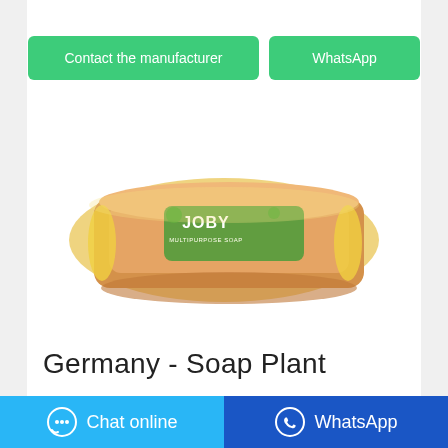[Figure (other): Two green rounded rectangle buttons: 'Contact the manufacturer' and 'WhatsApp']
[Figure (photo): JOBY Multipurpose Soap bar in yellow packaging on white background]
Germany - Soap Plant
· · · · · · · · · · ·
[Figure (other): Bottom bar with 'Chat online' button (blue) and 'WhatsApp' button (dark blue) with icons]